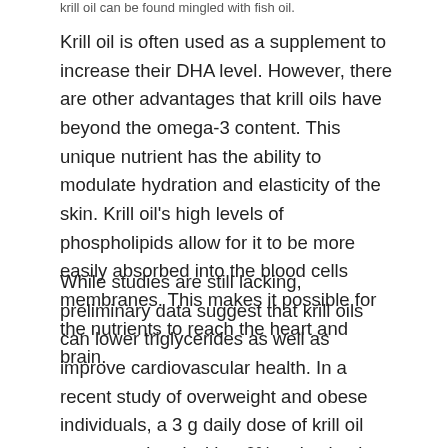krill oil can be found mingled with fish oil.
Krill oil is often used as a supplement to increase their DHA level. However, there are other advantages that krill oils have beyond the omega-3 content. This unique nutrient has the ability to modulate hydration and elasticity of the skin. Krill oil's high levels of phospholipids allow for it to be more easily absorbed into the blood cells membranes. This makes it possible for the nutrients to reach the heart and brain.
While studies are still lacking, preliminary data suggest that krill oils can lower triglycerides as well as improve cardiovascular health. In a recent study of overweight and obese individuals, a 3 g daily dose of krill oil was associated with a 6% reduction in triglyceride